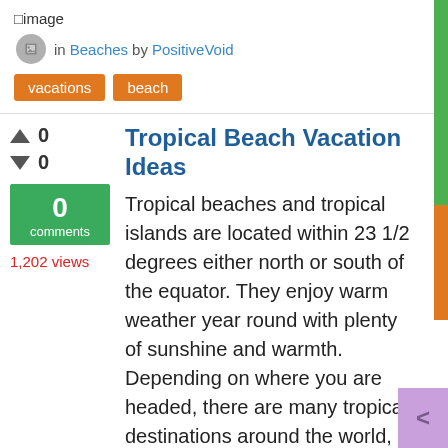[Figure (illustration): Broken image placeholder icon with text 'image']
in Beaches by PositiveVoid
vacations
beach
Tropical Beach Vacation Ideas
Tropical beaches and tropical islands are located within 23 1/2 degrees either north or south of the equator. They enjoy warm weather year round with plenty of sunshine and warmth. Depending on where you are headed, there are many tropical destinations around the world, including
0
0
0 comments
1,202 views